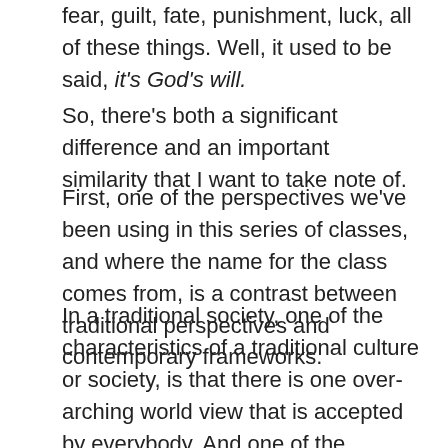fear, guilt, fate, punishment, luck, all of these things. Well, it used to be said, it's God's will.
So, there's both a significant difference and an important similarity that I want to take note of.
First, one of the perspectives we've been using in this series of classes, and where the name for the class comes from, is a contrast between traditional perspectives and contemporary frameworks.
In a traditional society, one of the characteristics of a traditional culture or society, is that there is one over-arching world view that is accepted by everybody. And one of the characteristics of a modern society, is that there is not one over-